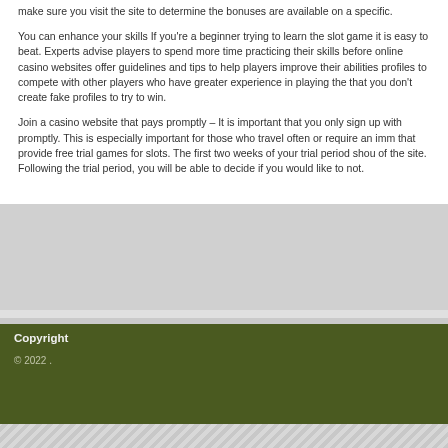make sure you visit the site to determine the bonuses are available on a specific.
You can enhance your skills If you're a beginner trying to learn the slot game it is easy to beat. Experts advise players to spend more time practicing their skills before online casino websites offer guidelines and tips to help players improve their abilities profiles to compete with other players who have greater experience in playing the that you don't create fake profiles to try to win.
Join a casino website that pays promptly – It is important that you only sign up with promptly. This is especially important for those who travel often or require an imm that provide free trial games for slots. The first two weeks of your trial period shou of the site. Following the trial period, you will be able to decide if you would like to not.
Copyright
© 2022 .